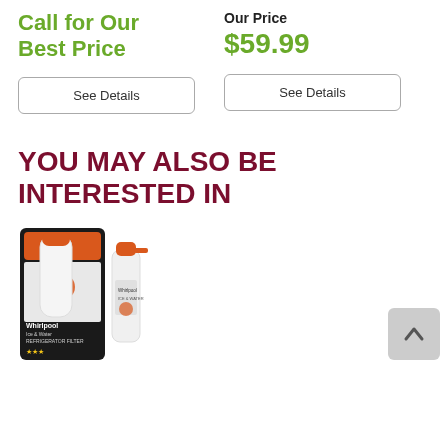Call for Our Best Price
Our Price $59.99
See Details
See Details
YOU MAY ALSO BE INTERESTED IN
[Figure (photo): Whirlpool water filter product packaging showing a filter cartridge and a spray bottle]